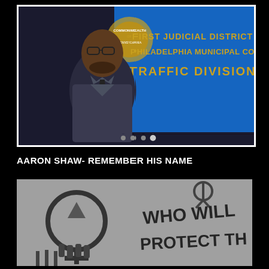[Figure (photo): A man in a dark suit and tie taking a selfie in front of a blue sign reading 'FIRST JUDICIAL DISTRICT PHILADELPHIA MUNICIPAL COURT TRAFFIC DIVISION' with a Pennsylvania state seal visible.]
AARON SHAW- REMEMBER HIS NAME
[Figure (photo): Black and white photograph of graffiti on a wall showing a raised fist symbol with peace sign above it, and text reading 'WHO WILL PROTECT TH...']